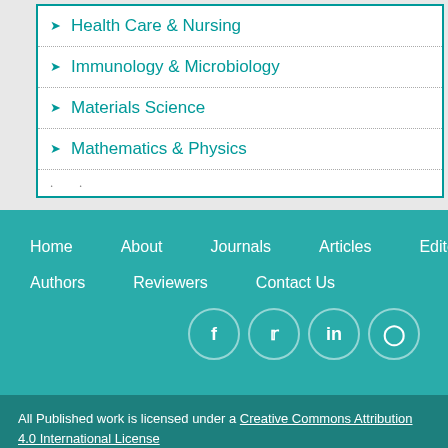Health Care & Nursing
Immunology & Microbiology
Materials Science
Mathematics & Physics
Home  About  Journals  Articles  Editors  Authors  Reviewers  Contact Us
All Published work is licensed under a Creative Commons Attribution 4.0 International License Copyright © 2022 All rights reserved. iMedPub LTD Last